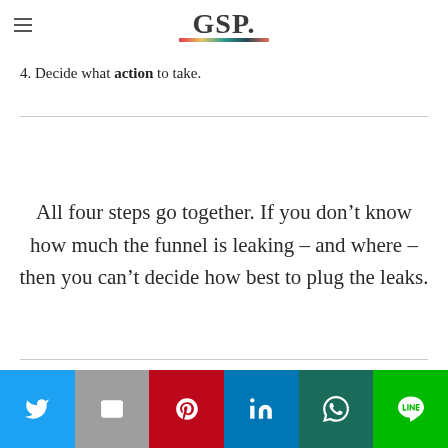GSP.
4. Decide what action to take.
All four steps go together. If you don’t know how much the funnel is leaking – and where – then you can’t decide how best to plug the leaks.
Social share bar: Twitter, Email, Pinterest, LinkedIn, WhatsApp, LINE